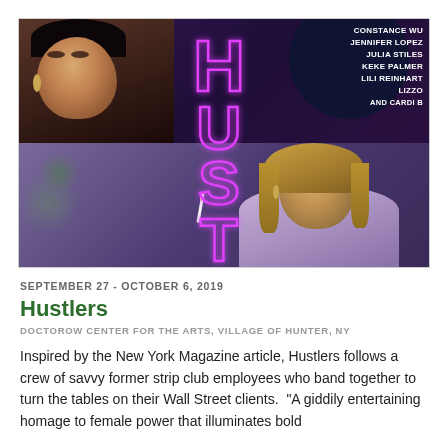[Figure (photo): Movie poster for Hustlers (2019) showing two scenes: top half featuring an Asian woman with bangs against a purple/dark background with cast list text (CONSTANCE WU, JENNIFER LOPEZ, JULIA STILES, KEKE PALMER, LILI REINHART, LIZZO, ...CARDI B); bottom half featuring a blonde woman in a lavender top. The word HUSTLERS is displayed vertically in pink neon lettering across both halves.]
SEPTEMBER 27 - OCTOBER 6, 2019
Hustlers
DOCTOROW CENTER FOR THE ARTS, VILLAGE OF HUNTER, NY
Inspired by the New York Magazine article, Hustlers follows a crew of savvy former strip club employees who band together to turn the tables on their Wall Street clients.  "A giddily entertaining homage to female power that illuminates bold